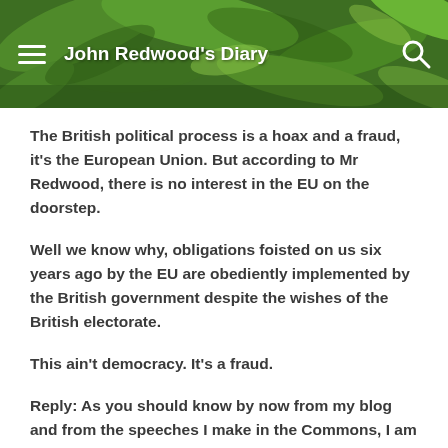John Redwood's Diary
The British political process is a hoax and a fraud, it's the European Union. But according to Mr Redwood, there is no interest in the EU on the doorstep.
Well we know why, obligations foisted on us six years ago by the EU are obediently implemented by the British government despite the wishes of the British electorate.
This ain't democracy. It's a fraud.
Reply: As you should know by now from my blog and from the speeches I make in the Commons, I am trying to raise awareness of the great power the EU now wields over us. I also need to explain to you why many MPs think they can